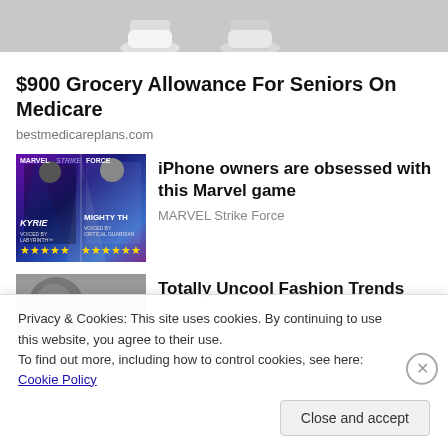[Figure (photo): Cropped top portion of an image showing legs/shoes of characters]
$900 Grocery Allowance For Seniors On Medicare
bestmedicareplans.com
[Figure (photo): Marvel Strike Force game ad image showing Valkyrie and Mighty Thor characters with stars rating]
iPhone owners are obsessed with this Marvel game
MARVEL Strike Force
[Figure (photo): Partially visible image for fashion trends article]
Totally Uncool Fashion Trends That Show Your Age
Privacy & Cookies: This site uses cookies. By continuing to use this website, you agree to their use.
To find out more, including how to control cookies, see here: Cookie Policy